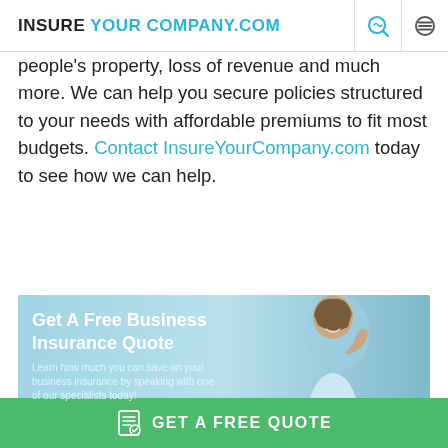INSURE YOUR COMPANY.COM
people's property, loss of revenue and much more. We can help you secure policies structured to your needs with affordable premiums to fit most budgets. Contact InsureYourCompany.com today to see how we can help.
[Figure (photo): Banner advertisement with light blue background showing a woman on a phone call. Text reads: Get A Free Business Insurance Quote. Learn how much you can save on your business insurance by speaking with one of our specialists today!]
GET A FREE QUOTE